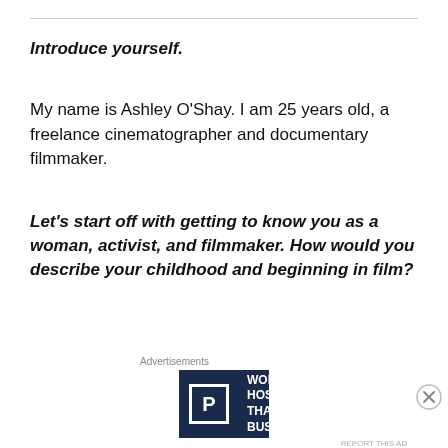Introduce yourself.
My name is Ashley O'Shay. I am 25 years old, a freelance cinematographer and documentary filmmaker.
Let's start off with getting to know you as a woman, activist, and filmmaker. How would you describe your childhood and beginning in film?
I grew up in central Indianapolis. I was in private
Advertisements
[Figure (other): WordPress Hosting advertisement banner with dark navy background, P logo in white box, text WORDPRESS HOSTING THAT MEANS BUSINESS., and an OPEN sign image on the right.]